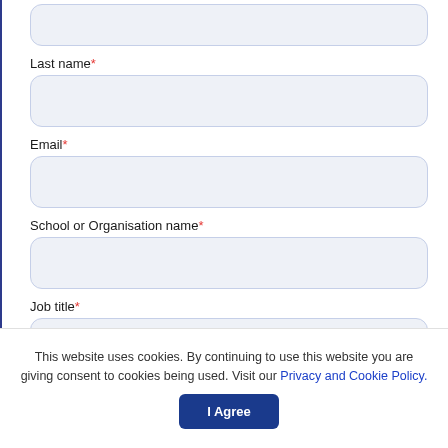Last name*
Email*
School or Organisation name*
Job title*
This website uses cookies. By continuing to use this website you are giving consent to cookies being used. Visit our Privacy and Cookie Policy.